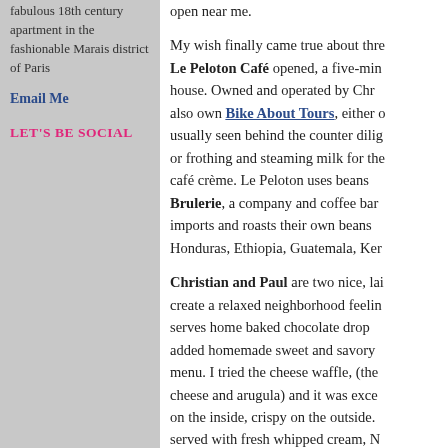fabulous 18th century apartment in the fashionable Marais district of Paris
Email Me
LET'S BE SOCIAL
My wish finally came true about three years ago when Le Peloton Café opened, a five-minute walk from my house. Owned and operated by Christian and Paul who also own Bike About Tours, either one of them is usually seen behind the counter diligently grinding beans or frothing and steaming milk for the perfect café crème. Le Peloton uses beans from Brulerie, a company and coffee bar in Paris that imports and roasts their own beans from places like Honduras, Ethiopia, Guatemala, Kenya...
Christian and Paul are two nice, laid-back guys who create a relaxed neighborhood feeling. Le Peloton serves home baked chocolate drop cookies, and has added homemade sweet and savory waffles to the menu. I tried the cheese waffle, (the one with goat cheese and arugula) and it was excellent—soft on the inside, crispy on the outside. Sweet waffles are served with fresh whipped cream, Nutella and jam. Filtered coffee is also served along with hot chocolate and a selection of organic fruit juices.